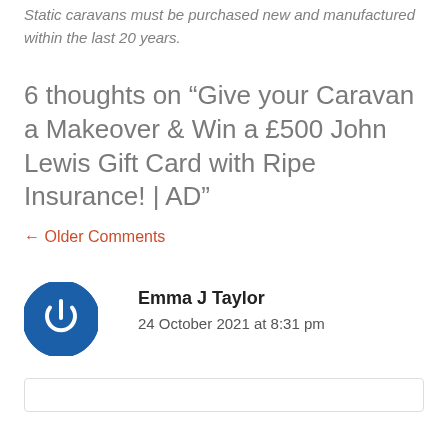Static caravans must be purchased new and manufactured within the last 20 years.
6 thoughts on “Give your Caravan a Makeover & Win a £500 John Lewis Gift Card with Ripe Insurance! | AD”
← Older Comments
Emma J Taylor
24 October 2021 at 8:31 pm